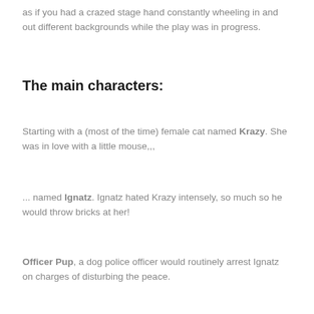as if you had a crazed stage hand constantly wheeling in and out different backgrounds while the play was in progress.
The main characters:
Starting with a (most of the time) female cat named Krazy. She was in love with a little mouse,,,
... named Ignatz. Ignatz hated Krazy intensely, so much so he would throw bricks at her!
Officer Pup, a dog police officer would routinely arrest Ignatz on charges of disturbing the peace.